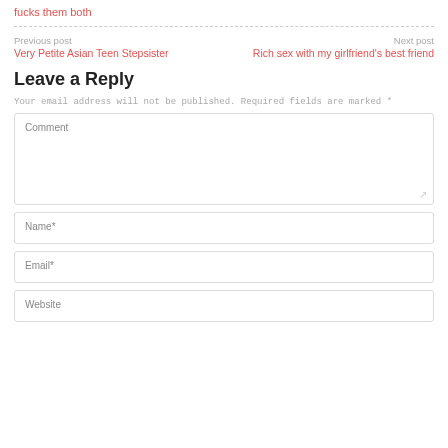fucks them both
Previous post
Very Petite Asian Teen Stepsister
Next post
Rich sex with my girlfriend's best friend
Leave a Reply
Your email address will not be published. Required fields are marked *
Comment
Name*
Email*
Website